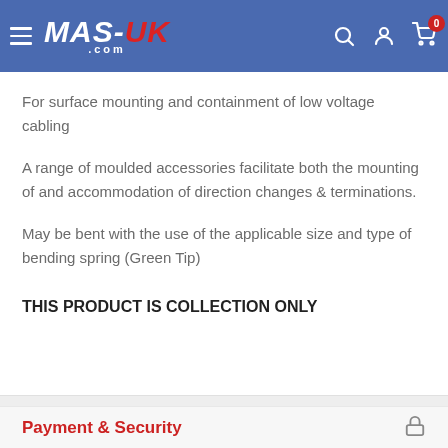MAS-UK.com
For surface mounting and containment of low voltage cabling
A range of moulded accessories facilitate both the mounting of and accommodation of direction changes & terminations.
May be bent with the use of the applicable size and type of bending spring (Green Tip)
THIS PRODUCT IS COLLECTION ONLY
Payment & Security